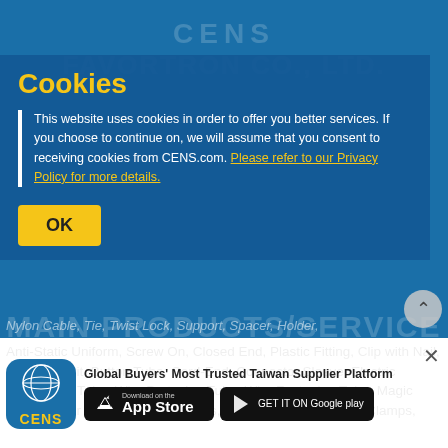CENS | FAVORTRON CO., LTD.
Cookies
This website uses cookies in order to offer you better services. If you choose to continue on, we will assume that you consent to receiving cookies from CENS.com. Please refer to our Privacy Policy for more details.
OK
MAIN PRODUCTS/SERVICE
Nylon Cable, Tie, Twist Lock, Support, Spacer, Holder, Anti-Static Uniform, Screw On, Closed End, Plastic Fitting, Clip with Nail, Clamp, Revit, Button Tube, Cord-End, Connector Sleeve, Electric Conductive Tube, Wire Protecion Tube, Wire Fastening Tube, Magic Tube, Tamer Tube, Electronic Parts, Cable Ties, Wire/Cable Clamps, Handy Tools, Slit Tubes With Clip Tools, Passive Computers & Peripherals, Power Supplies, Stainless Steel Cable Tie
Global Buyers' Most Trusted Taiwan Supplier Platform
[Figure (logo): CENS app icon with globe and CENS label on blue background]
[Figure (screenshot): Download on the App Store button (black)]
[Figure (screenshot): GET IT ON Google Play button (black)]